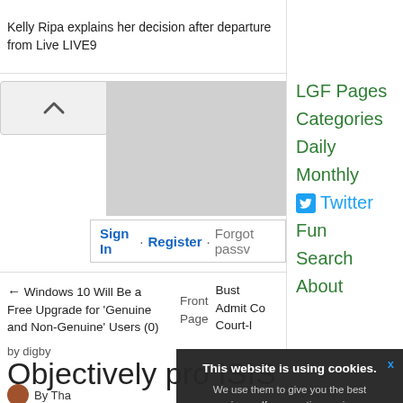Kelly Ripa explains her decision after departure from Live LIVE9
Open
LGF Pages
Categories
Daily
Monthly
Twitter
Fun
Search
About
Sign In · Register · Forgot passv
← Windows 10 Will Be a Free Upgrade for 'Genuine and Non-Genuine' Users (0)
Front Page
Bust Admit Co Court-l
Objectively pro ISIS
by digby
By Tha...
contact
This website is using cookies. We use them to give you the best experience. If you continue using our website, we'll assume that you are happy to receive all cookies on this website. Continue  Learn more